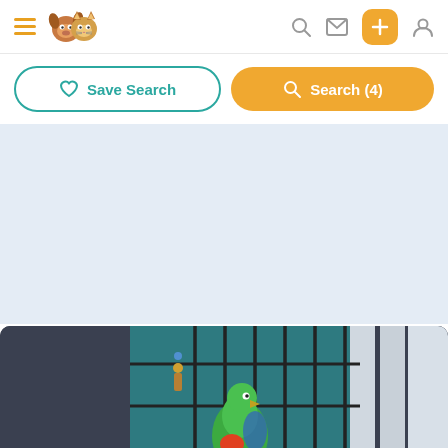Navigation bar with hamburger menu, pet logo, search icon, mail icon, plus button, and user icon
Save Search
Search (4)
[Figure (photo): Light blue placeholder/ad area]
[Figure (photo): Photo of a green parrot/bird in a dark cage with colorful toys, against a teal/striped background]